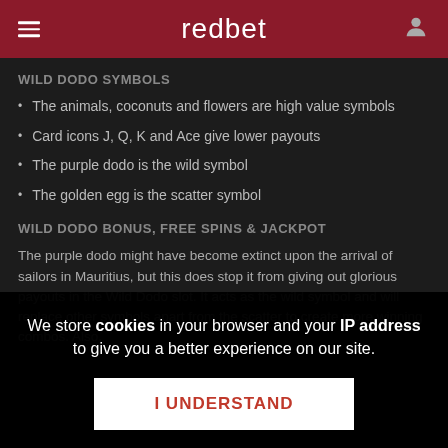redbet
WILD DODO SYMBOLS
The animals, coconuts and flowers are high value symbols
Card icons J, Q, K and Ace give lower payouts
The purple dodo is the wild symbol
The golden egg is the scatter symbol
WILD DODO BONUS, FREE SPINS & JACKPOT
The purple dodo might have become extinct upon the arrival of sailors in Mauritius, but this does stop it from giving out glorious payouts in the Wild Dodo slot. It acts as the wild symbol and will replace other symbols apart from the scatter to create more winning combos. Also,
We store cookies in your browser and your IP address to give you a better experience on our site.
I UNDERSTAND